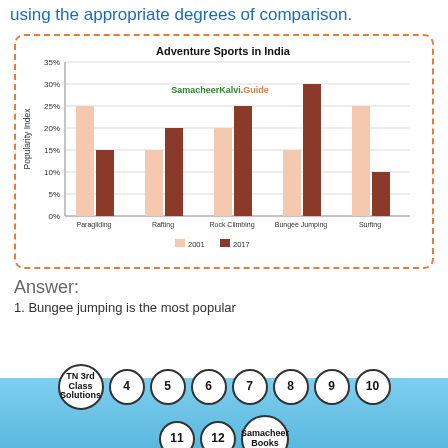using the appropriate degrees of comparison.
[Figure (grouped-bar-chart): Adventure Sports in India]
Answer:
Bungee jumping is the most popular
TN 3rd Class Solutions  4  5  6  7  8  9  10  11  12  Samacheer Books